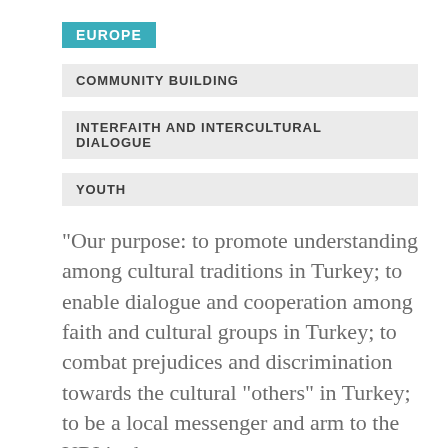EUROPE
COMMUNITY BUILDING
INTERFAITH AND INTERCULTURAL DIALOGUE
YOUTH
"Our purpose: to promote understanding among cultural traditions in Turkey; to enable dialogue and cooperation among faith and cultural groups in Turkey; to combat prejudices and discrimination towards the cultural "others" in Turkey; to be a local messenger and arm to the URI in the